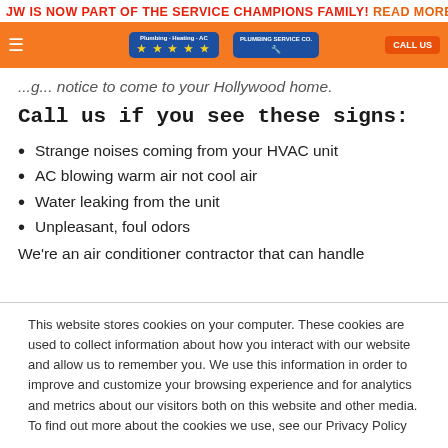JW IS NOW PART OF THE SERVICE CHAMPIONS FAMILY! READ MORE
[Figure (screenshot): Orange navigation bar with blue rating badge showing stars and a plumbing service badge, plus orange call-to-action button on the right]
notice to come to your Hollywood home.
Call us if you see these signs:
Strange noises coming from your HVAC unit
AC blowing warm air not cool air
Water leaking from the unit
Unpleasant, foul odors
We're an air conditioner contractor that can handle
This website stores cookies on your computer. These cookies are used to collect information about how you interact with our website and allow us to remember you. We use this information in order to improve and customize your browsing experience and for analytics and metrics about our visitors both on this website and other media. To find out more about the cookies we use, see our Privacy Policy
Accept